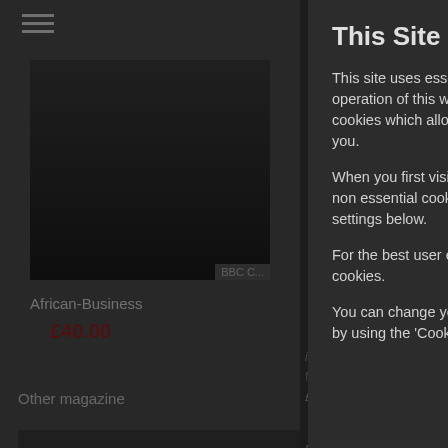[Figure (screenshot): Background website content showing a magazine listing page with hamburger menu icon, a dark image of a person, African-Business magazine title, price £40.00, Other magazines section, Classic & Vintage Commercial text, all dimmed behind cookie consent overlay]
This Site Uses Cookies
This site uses essential cookies which are vital to the correct operation of this website, we may use other non essential cookies which allow us to improve the service we provide to you.
When you first visit this site ony the essential cookies are set, non essential cookies will only be set if you allow them in the settings below.
For the best user experience we recommend you enable all cookies.
You can change your cookie consent preferences at any time by using the 'Cookie Settings' menu option located at